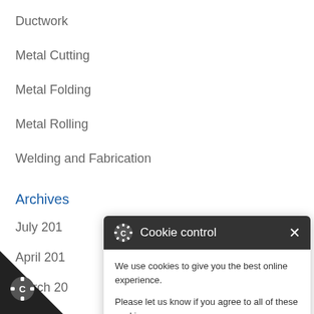Ductwork
Metal Cutting
Metal Folding
Metal Rolling
Welding and Fabrication
Archives
July 201
April 201
March 20
July 201
Sheet Me
it 3 Hi
[Figure (screenshot): Cookie control modal dialog with dark header showing gear/C icon and title 'Cookie control' with X close button. Body contains text: 'We use cookies to give you the best online experience. Please let us know if you agree to all of these cookies.' A dark button labeled 'I'm fine with this' and a text link 'Information and Settings'.]